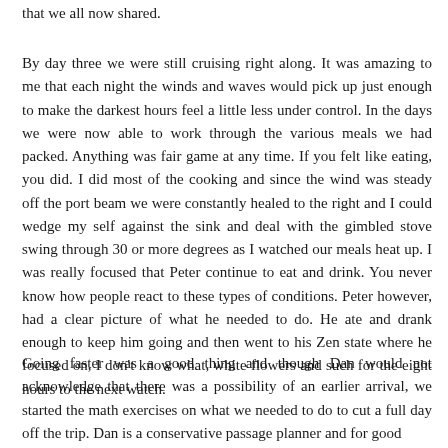that we all now shared.
By day three we were still cruising right along. It was amazing to me that each night the winds and waves would pick up just enough to make the darkest hours feel a little less under control. In the days we were now able to work through the various meals we had packed. Anything was fair game at any time. If you felt like eating, you did. I did most of the cooking and since the wind was steady off the port beam we were constantly healed to the right and I could wedge my self against the sink and deal with the gimbled stove swing through 30 or more degrees as I watched our meals heat up. I was really focused that Peter continue to eat and drink. You never know how people react to these types of conditions. Peter however, had a clear picture of what he needed to do. He ate and drank enough to keep him going and then went to his Zen state where he focused on, I don't know what, white flowers and such for the eight hours to the next watch.
Going faster was a good thing and though Dan would not acknowledge that there was a possibility of an earlier arrival, we started the math exercises on what we needed to do to cut a full day off the trip. Dan is a conservative passage planner and for good